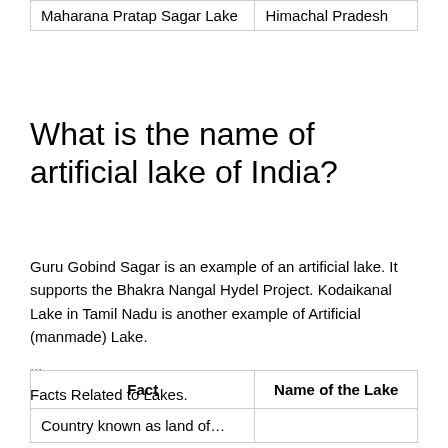| Maharana Pratap Sagar Lake | Himachal Pradesh |
What is the name of artificial lake of India?
Guru Gobind Sagar is an example of an artificial lake. It supports the Bhakra Nangal Hydel Project. Kodaikanal Lake in Tamil Nadu is another example of Artificial (manmade) Lake.
...
Facts Related to Lakes.
| Fact | Name of the Lake |
| --- | --- |
| Country known as land of… |  |